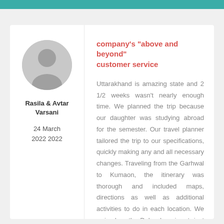[Figure (illustration): Circular avatar placeholder with grey silhouette of a person on grey background]
Rasila & Avtar Varsani
24 March 2022 2022
company's "above and beyond" customer service
Uttarakhand is amazing state and 2 1/2 weeks wasn't nearly enough time. We planned the trip because our daughter was studying abroad for the semester. Our travel planner tailored the trip to our specifications, quickly making any and all necessary changes. Traveling from the Garhwal to Kumaon, the itinerary was thorough and included maps, directions as well as additional activities to do in each location. We arrived on the Dehradun airport, just after a heavy rain storm